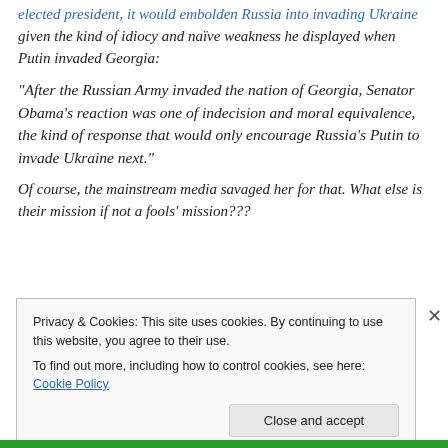elected president, it would embolden Russia into invading Ukraine given the kind of idiocy and naïve weakness he displayed when Putin invaded Georgia:
“After the Russian Army invaded the nation of Georgia, Senator Obama’s reaction was one of indecision and moral equivalence, the kind of response that would only encourage Russia’s Putin to invade Ukraine next.”
Of course, the mainstream media savaged her for that. What else is their mission if not a fools’ mission???
Privacy & Cookies: This site uses cookies. By continuing to use this website, you agree to their use.
To find out more, including how to control cookies, see here: Cookie Policy